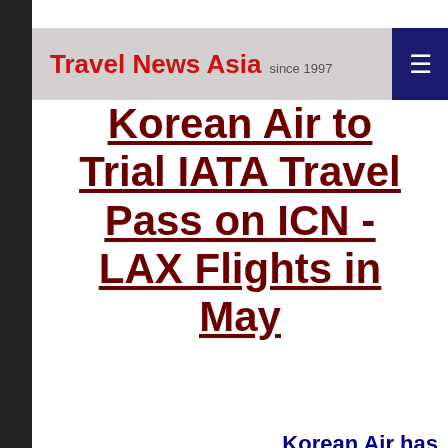Travel News Asia since 1997
Korean Air to Trial IATA Travel Pass on ICN - LAX Flights in May
Korean Air has